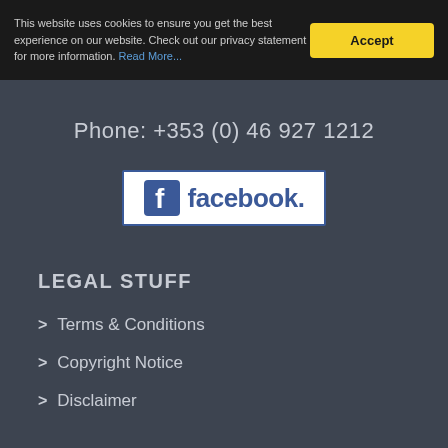This website uses cookies to ensure you get the best experience on our website. Check out our privacy statement for more information. Read More...
Accept
Phone: +353 (0) 46 927 1212
[Figure (logo): Facebook logo with 'f' icon and 'facebook.' wordmark inside a white bordered box]
LEGAL STUFF
> Terms & Conditions
> Copyright Notice
> Disclaimer